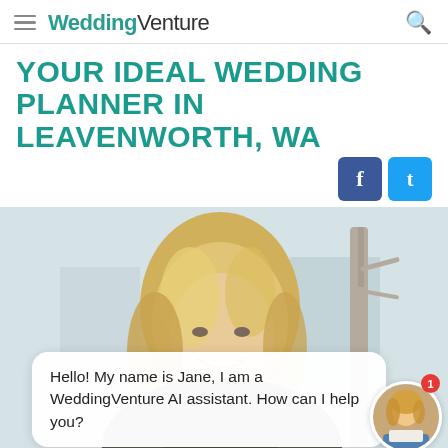WeddingVenture
YOUR IDEAL WEDDING PLANNER IN LEAVENWORTH, WA
[Figure (photo): Smiling blonde woman outdoors in a winter setting with bare trees and buildings in the background, wearing a dark jacket]
Hello! My name is Jane, I am a WeddingVenture AI assistant. How can I help you?